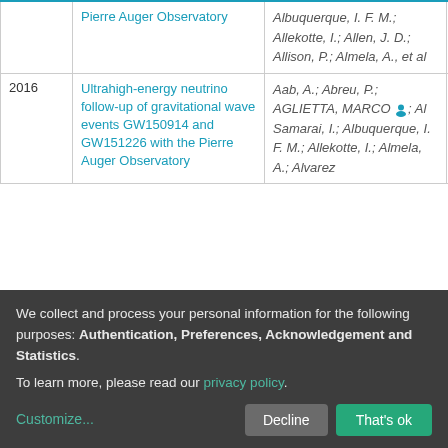| Year | Title | Authors | Access |
| --- | --- | --- | --- |
|  | Pierre Auger Observatory | Albuquerque, I. F. M.; Allekotte, I.; Allen, J. D.; Allison, P.; Almela, A., et al |  |
| 2016 | Ultrahigh-energy neutrino follow-up of gravitational wave events GW150914 and GW151226 with the Pierre Auger Observatory | Aab, A.; Abreu, P.; AGLIETTA, MARCO; Al Samarai, I.; Albuquerque, I. F. M.; Allekotte, I.; Almela, A.; Alvarez | open |
We collect and process your personal information for the following purposes: Authentication, Preferences, Acknowledgement and Statistics. To learn more, please read our privacy policy.